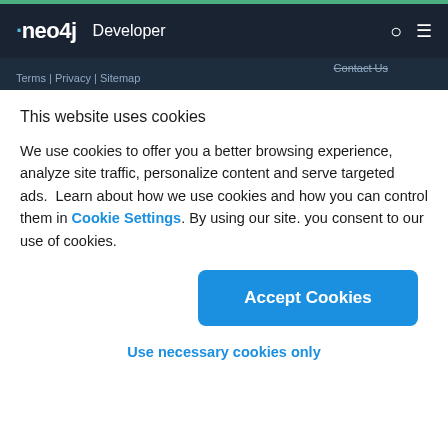neo4j Developer
Terms | Privacy | Sitemap  Contact Us
This website uses cookies
We use cookies to offer you a better browsing experience, analyze site traffic, personalize content and serve targeted ads.  Learn about how we use cookies and how you can control them in Cookie Settings. By using our site. you consent to our use of cookies.
Accept Cookies
Use necessary cookies only